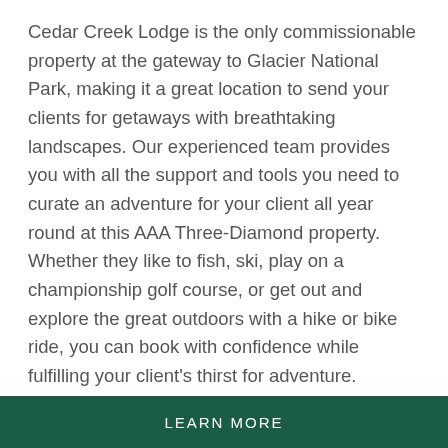Cedar Creek Lodge is the only commissionable property at the gateway to Glacier National Park, making it a great location to send your clients for getaways with breathtaking landscapes. Our experienced team provides you with all the support and tools you need to curate an adventure for your client all year round at this AAA Three-Diamond property. Whether they like to fish, ski, play on a championship golf course, or get out and explore the great outdoors with a hike or bike ride, you can book with confidence while fulfilling your client's thirst for adventure.
LEARN MORE